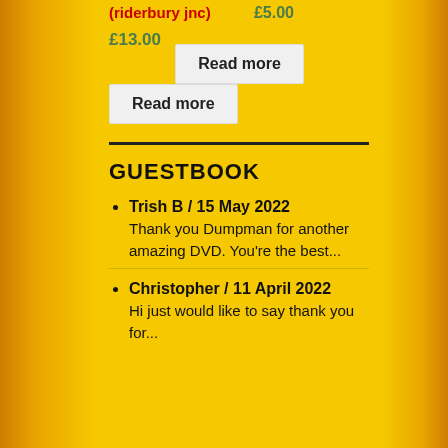(riderbury jnc)
£5.00
£13.00
Read more
Read more
GUESTBOOK
Trish B / 15 May 2022
Thank you Dumpman for another amazing DVD. You're the best...
Christopher / 11 April 2022
Hi just would like to say thank you for...